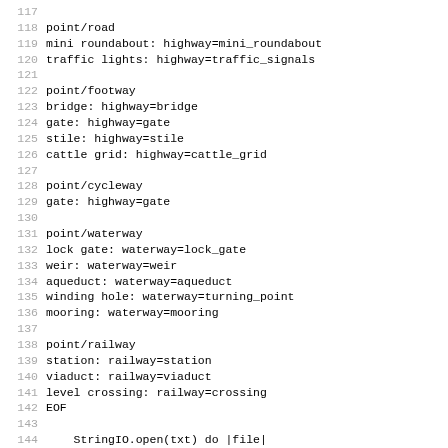Code listing lines 117-148 showing point/road, point/footway, point/cycleway, point/waterway, point/railway configurations and StringIO parsing code